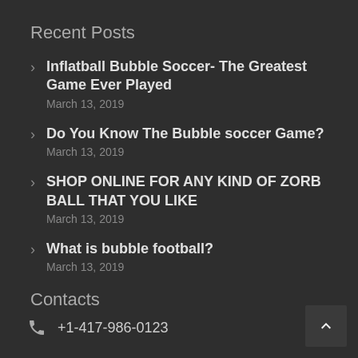Recent Posts
Inflatball Bubble Soccer- The Greatest Game Ever Played
March 13, 2019
Do You Know The Bubble soccer Game?
March 13, 2019
SHOP ONLINE FOR ANY KIND OF ZORB BALL THAT YOU LIKE
March 13, 2019
What is bubble football?
March 13, 2019
Contacts
+1-417-986-0123